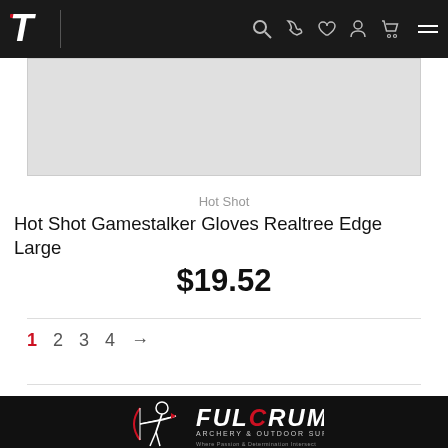Navigation header with logo and icons
[Figure (photo): Product image area for Hot Shot Gamestalker Gloves (light gray placeholder area)]
Hot Shot
Hot Shot Gamestalker Gloves Realtree Edge Large
$19.52
1  2  3  4  →
[Figure (logo): Fulcrum Archery & Outdoor Supply logo with archer silhouette on black background]